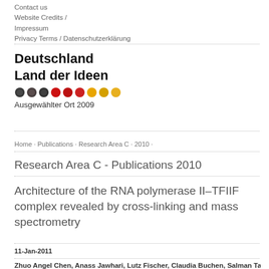Contact us
Website Credits / Impressum
Privacy Terms / Datenschutzerklärung
[Figure (logo): Deutschland Land der Ideen logo with colored circles and text 'Ausgewählter Ort 2009']
Home · Publications · Research Area C · 2010 ·
Research Area C - Publications 2010
Architecture of the RNA polymerase II–TFIIF complex revealed by cross-linking and mass spectrometry
11-Jan-2011
Zhuo Angel Chen, Anass Jawhari, Lutz Fischer, Claudia Buchen, Salman Tahir,